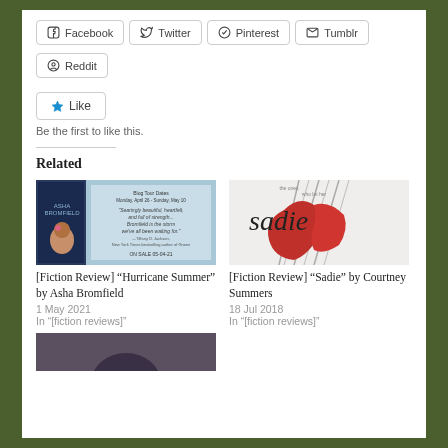Facebook
Twitter
Pinterest
Tumblr
Reddit
Like
Be the first to like this.
Related
[Figure (photo): Book cover and promotional image for Hurricane Summer by Asha Bromfield]
[Fiction Review] "Hurricane Summer" by Asha Bromfield
1 May 2021
In "[fiction reviews]"
[Figure (photo): Book cover for Sadie by Courtney Summers]
[Fiction Review] "Sadie" by Courtney Summers
18 Jul 2018
In "[fiction reviews]"
[Figure (photo): Partial book cover image, dark toned]